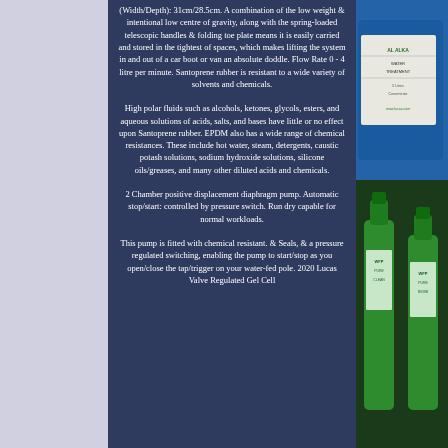(Width/Depth): 31cm/28.5cm. A combination of the low weight & intentional low centre of gravity, along with the spring-loaded telescopic handles & folding toe plate means it is easily carried and stored in the tightest of spaces, which makes lifting the system in and out of a car boot or van an absolute doddle. Flow Rate 0 - 4 litre per minute. Santoprene rubber is resistant to a wide variety of solvents and chemicals.
High polar fluids such as alcohols, ketones, glycols, esters, and aqueous solutions of acids, salts, and bases have little or no effect upon Santoprene rubber. EPDM also has a wide range of chemical resistances. These include hot water, steam, detergents, caustic potash solutions, sodium hydroxide solutions, silicone oils/greases, and many other diluted acids and chemicals.
2 Chamber positive displacement diaphragm pump. Automatic stop/start: controlled by pressure switch. Run dry capable for normal workloads.
This pump is fitted with chemical resistant. & Seals, & a pressure regulated switching, enabling the pump to start/stop as you open/close the tap/trigger on your water-fed pole. 2020 Lucas Valve Regulated Gel Cell
[Figure (photo): Right side of page shows a product photo with blue and green equipment/bottles against a dark background]